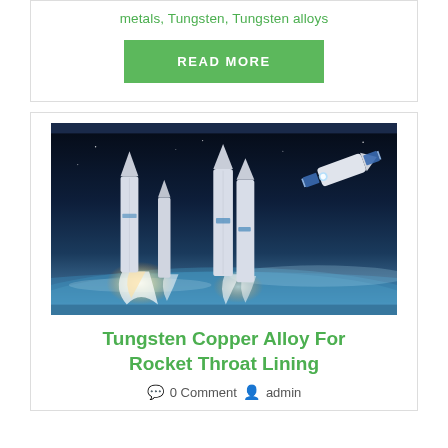metals, Tungsten, Tungsten alloys
READ MORE
[Figure (photo): Composite image of multiple rockets launching with exhaust plumes against an atmospheric sky, with a spacecraft visible in the upper right]
Tungsten Copper Alloy For Rocket Throat Lining
0 Comment  admin